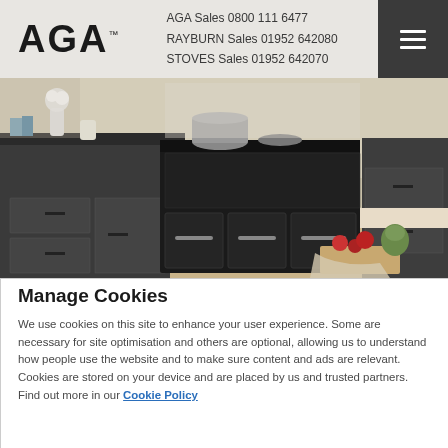AGA™  AGA Sales 0800 111 6477  RAYBURN Sales 01952 642080  STOVES Sales 01952 642070
[Figure (photo): Kitchen scene featuring a black AGA range cooker on a dark grey kitchen island with pots and pans, flowers in a vase, books, and vegetables on a cutting board in the foreground.]
Manage Cookies
We use cookies on this site to enhance your user experience. Some are necessary for site optimisation and others are optional, allowing us to understand how people use the website and to make sure content and ads are relevant. Cookies are stored on your device and are placed by us and trusted partners. Find out more in our Cookie Policy